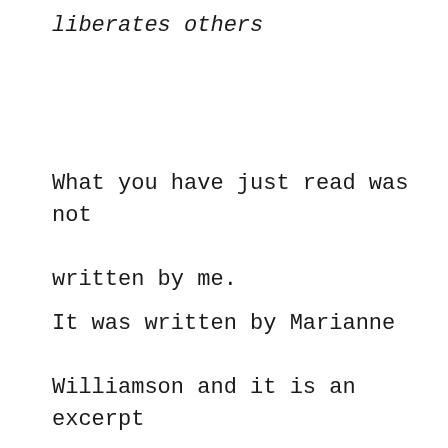liberates others
What you have just read was not written by me.
It was written by Marianne Williamson and it is an excerpt from her book.